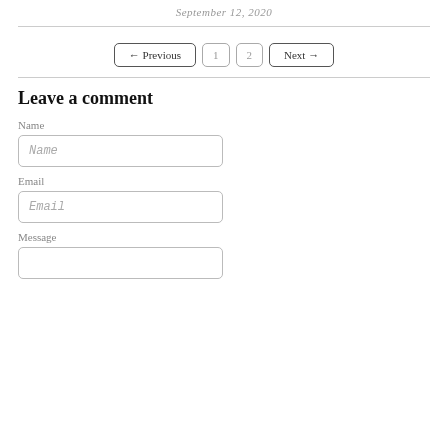September 12, 2020
← Previous  1  2  Next →
Leave a comment
Name
Name
Email
Email
Message